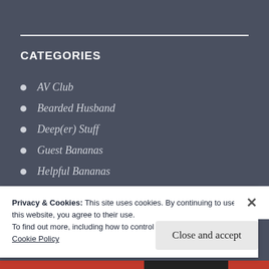CATEGORIES
AV Club
Bearded Husband
Deep(er) Stuff
Guest Bananas
Helpful Bananas
Lessons Learned the Hard Way
Privacy & Cookies: This site uses cookies. By continuing to use this website, you agree to their use.
To find out more, including how to control cookies, see here:
Cookie Policy
Close and accept